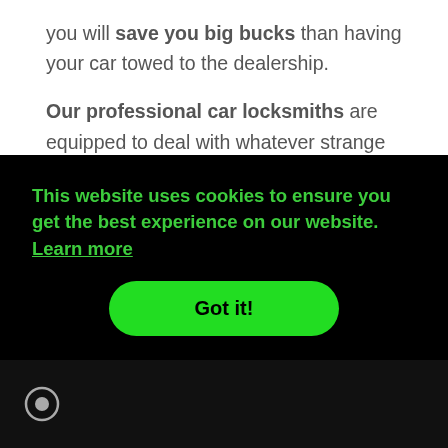you will save you big bucks than having your car towed to the dealership.
Our professional car locksmiths are equipped to deal with whatever strange thing you, your toddler or the local car thief might to your vehicle and its key systems. We keep the particular tools and equipment to meet any situation.
This website uses cookies to ensure you get the best experience on our website. Learn more
Got it!